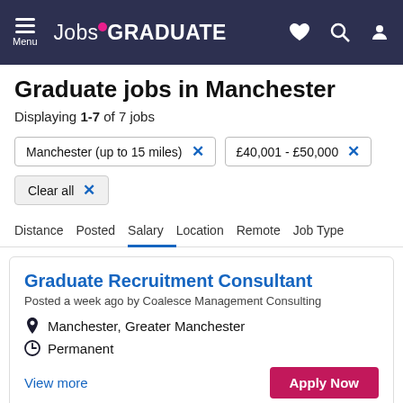Jobs GRADUATE — navigation bar
Graduate jobs in Manchester
Displaying 1-7 of 7 jobs
Manchester (up to 15 miles) × | £40,001 - £50,000 ×
Clear all ×
Distance | Posted | Salary | Location | Remote | Job Type
Graduate Recruitment Consultant
Posted a week ago by Coalesce Management Consulting
Manchester, Greater Manchester
Permanent
View more
Apply Now